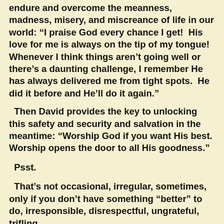endure and overcome the meanness, madness, misery, and miscreance of life in our world: “I praise God every chance I get!  His love for me is always on the tip of my tongue!  Whenever I think things aren’t going well or there’s a daunting challenge, I remember He has always delivered me from tight spots.  He did it before and He’ll do it again.”
Then David provides the key to unlocking this safety and security and salvation in the meantime: “Worship God if you want His best. Worship opens the door to all His goodness.”
Psst.
That’s not occasional, irregular, sometimes, only if you don’t have something “better” to do, irresponsible, disrespectful, ungrateful, trifling